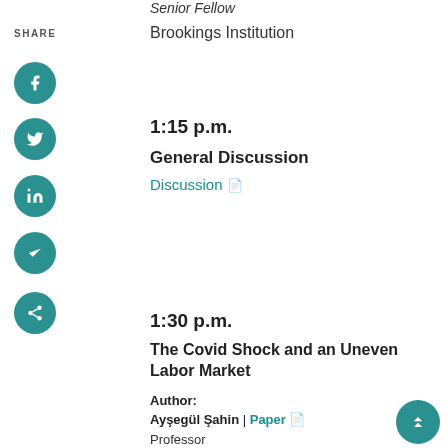Senior Fellow
SHARE
Brookings Institution
1:15 p.m.
General Discussion
Discussion
1:30 p.m.
The Covid Shock and an Uneven Labor Market
Author:
Ayşegül Şahin | Paper
Professor